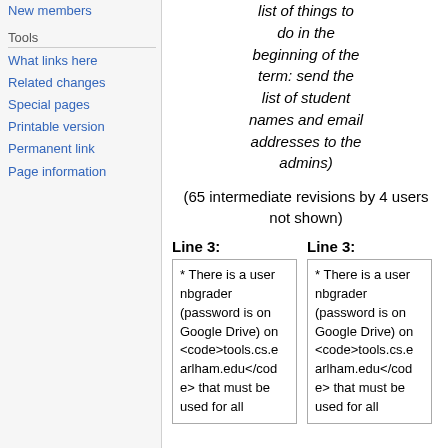New members
Tools
What links here
Related changes
Special pages
Printable version
Permanent link
Page information
list of things to do in the beginning of the term: send the list of student names and email addresses to the admins)
(65 intermediate revisions by 4 users not shown)
Line 3:
Line 3:
* There is a user nbgrader (password is on Google Drive) on <code>tools.cs.earlham.edu</code> that must be used for all
* There is a user nbgrader (password is on Google Drive) on <code>tools.cs.earlham.edu</code> that must be used for all